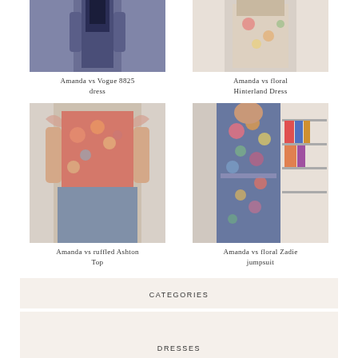[Figure (photo): Person wearing a dark navy/purple dress, cropped at torso]
Amanda vs Vogue 8825 dress
[Figure (photo): Person wearing a floral colorful dress, light background]
Amanda vs floral Hinterland Dress
[Figure (photo): Person wearing a floral ruffled top with grey/blue skirt or pants]
Amanda vs ruffled Ashton Top
[Figure (photo): Person wearing a bright floral jumpsuit, standing in a room with shelves]
Amanda vs floral Zadie jumpsuit
CATEGORIES
DRESSES